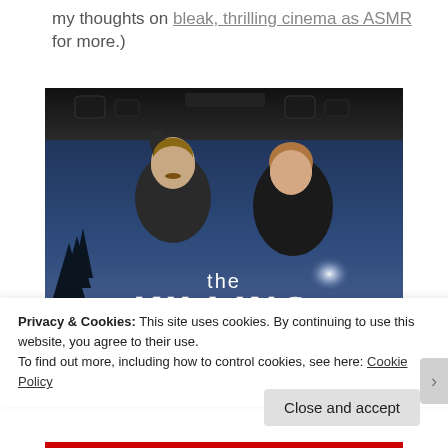my thoughts on bleak, thrilling cinema as ASMR for more.)
[Figure (photo): Promotional poster for 'The Killing' TV show showing two people (a man and a woman) standing under a car trunk in a dark, moody setting with the title 'the KILLING' displayed in large text at the bottom.]
Privacy & Cookies: This site uses cookies. By continuing to use this website, you agree to their use.
To find out more, including how to control cookies, see here: Cookie Policy
Close and accept